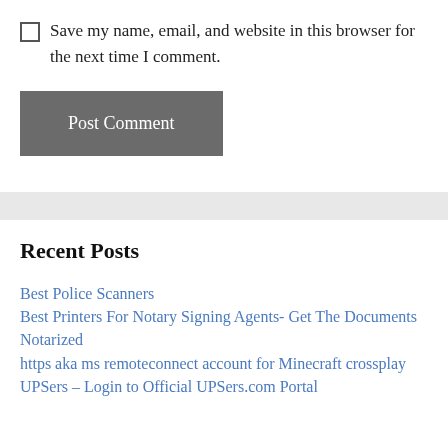Save my name, email, and website in this browser for the next time I comment.
Post Comment
Recent Posts
Best Police Scanners
Best Printers For Notary Signing Agents- Get The Documents Notarized
https aka ms remoteconnect account for Minecraft crossplay
UPSers – Login to Official UPSers.com Portal